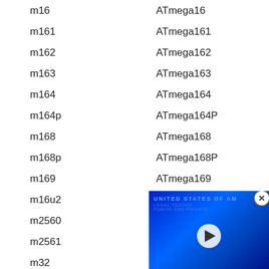m16    ATmega16
m161   ATmega161
m162   ATmega162
m163   ATmega163
m164   ATmega164
m164p  ATmega164P
m168   ATmega168
m168p  ATmega168P
m169   ATmega169
m16u2  ATmega16U2
m2560  ATmega2560 (**)
m2561  ATmega2561 (**)
m32    ATmega32
m324p  ATmega324P
m325   ATmega325
m3250  ATmega3250
[Figure (other): Partially visible video overlay showing a blue-tinted US dollar bill with a play button, and a close (X) button in the top right corner.]